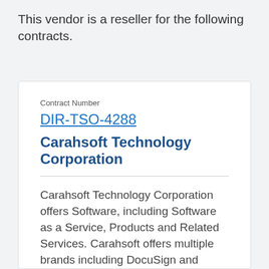This vendor is a reseller for the following contracts.
Contract Number
DIR-TSO-4288
Carahsoft Technology Corporation
Carahsoft Technology Corporation offers Software, including Software as a Service, Products and Related Services. Carahsoft offers multiple brands including DocuSign and Salesforce. Customers can purchase directly through this DIR contract. Contracts may be used by state and local government, public education, other public entities in Texas